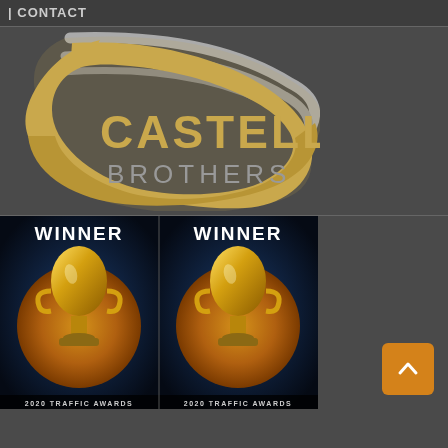| CONTACT
[Figure (logo): Castello Brothers logo with silver C-shaped swoosh lines and gold text reading CASTELLO BROTHERS on dark background]
[Figure (photo): Two WINNER award images side by side showing golden trophy cups with text WINNER and 2020 TRAFFIC AWARDS at the bottom]